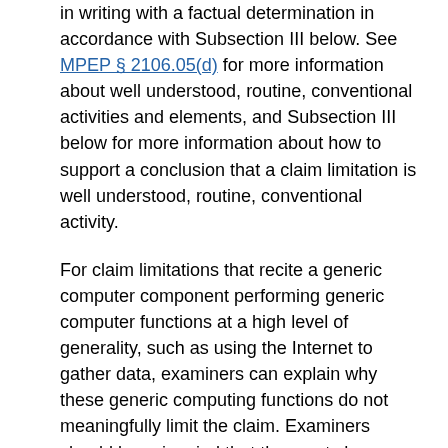in writing with a factual determination in accordance with Subsection III below. See MPEP § 2106.05(d) for more information about well understood, routine, conventional activities and elements, and Subsection III below for more information about how to support a conclusion that a claim limitation is well understood, routine, conventional activity.
For claim limitations that recite a generic computer component performing generic computer functions at a high level of generality, such as using the Internet to gather data, examiners can explain why these generic computing functions do not meaningfully limit the claim. Examiners should keep in mind that the courts have held computer-implemented processes to be significantly more than an abstract idea (and thus eligible), where generic computer components are able in combination to perform functions that are not merely generic. DDR Holdings, LLC v. Hotels.com, LP, 773 F.3d 1245, 1258-59, 113 USPQ2d 1097, 1106-07 (Fed. Cir. 2014). See MPEP § 2106.05(f) for more information about generic computing functions